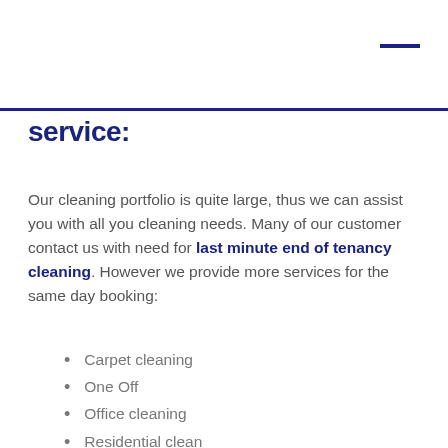service:
Our cleaning portfolio is quite large, thus we can assist you with all you cleaning needs. Many of our customer contact us with need for last minute end of tenancy cleaning. However we provide more services for the same day booking:
Carpet cleaning
One Off
Office cleaning
Residential clean
Oven cleaning
After party or Pre party cleaning